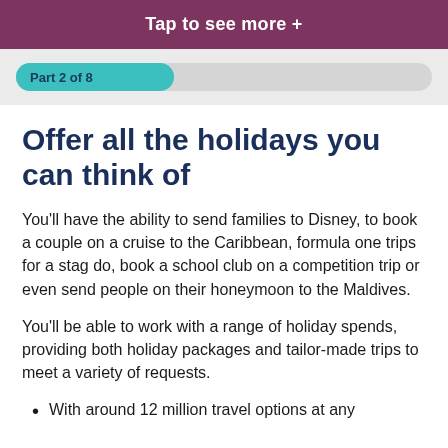Tap to see more +
Part 2 of 8
Offer all the holidays you can think of
You'll have the ability to send families to Disney, to book a couple on a cruise to the Caribbean, formula one trips for a stag do, book a school club on a competition trip or even send people on their honeymoon to the Maldives.
You'll be able to work with a range of holiday spends, providing both holiday packages and tailor-made trips to meet a variety of requests.
With around 12 million travel options at any